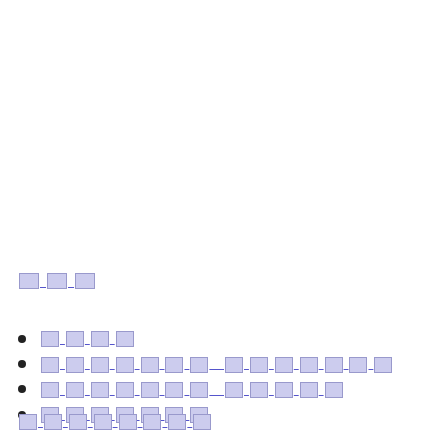███
████
████████ ███████
████████ █████
███████
████████